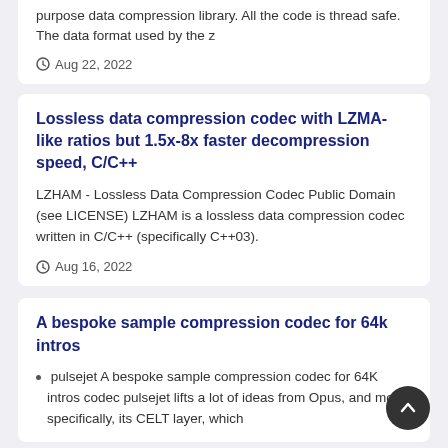purpose data compression library. All the code is thread safe. The data format used by the z
Aug 22, 2022
Lossless data compression codec with LZMA-like ratios but 1.5x-8x faster decompression speed, C/C++
LZHAM - Lossless Data Compression Codec Public Domain (see LICENSE) LZHAM is a lossless data compression codec written in C/C++ (specifically C++03).
Aug 16, 2022
A bespoke sample compression codec for 64k intros
pulsejet A bespoke sample compression codec for 64K intros codec pulsejet lifts a lot of ideas from Opus, and more specifically, its CELT layer, which